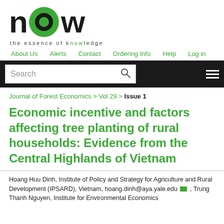[Figure (logo): NOW Publishers logo — large bold 'now' text with green circle as the 'o', tagline 'the essence of knowledge' below]
About Us   Alerts   Contact   Ordering Info   Help   Log in
Search
Journal of Forest Economics > Vol 29 > Issue 1
Economic incentive and factors affecting tree planting of rural households: Evidence from the Central Highlands of Vietnam
Hoang Huu Dinh, Institute of Policy and Strategy for Agriculture and Rural Development (IPSARD), Vietnam, hoang.dinh@aya.yale.edu [mail icon] , Trung Thanh Nguyen, Institute for Environmental Economics